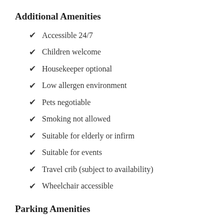Additional Amenities
Accessible 24/7
Children welcome
Housekeeper optional
Low allergen environment
Pets negotiable
Smoking not allowed
Suitable for elderly or infirm
Suitable for events
Travel crib (subject to availability)
Wheelchair accessible
Parking Amenities